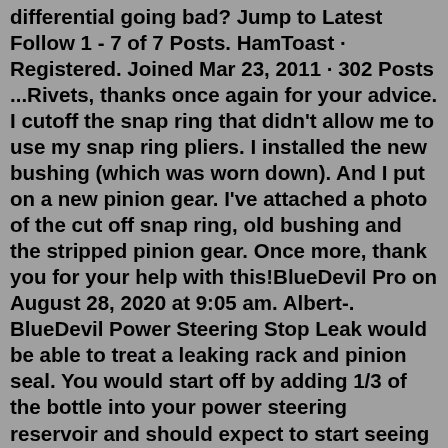differential going bad? Jump to Latest Follow 1 - 7 of 7 Posts. HamToast · Registered. Joined Mar 23, 2011 · 302 Posts ...Rivets, thanks once again for your advice. I cutoff the snap ring that didn't allow me to use my snap ring pliers. I installed the new bushing (which was worn down). And I put on a new pinion gear. I've attached a photo of the cut off snap ring, old bushing and the stripped pinion gear. Once more, thank you for your help with this!BlueDevil Pro on August 28, 2020 at 9:05 am. Albert-. BlueDevil Power Steering Stop Leak would be able to treat a leaking rack and pinion seal. You would start off by adding 1/3 of the bottle into your power steering reservoir and should expect to start seeing results after approximately 100-200 miles of driving. And for those that didn't, jokes on them, they probably installed polyurethane RTABs and have bad. Apr 16, 2020 · Read also: 7 Causes of Grinding Noise & Vibration when Braking. Not Tightened Enough - The lower control arm bushing needs to be tightly fastened in order to stay strong